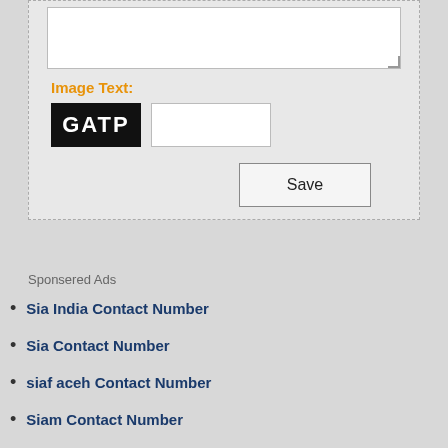[Figure (screenshot): Web form panel with a textarea, an orange 'Image Text:' label, a CAPTCHA image showing 'GATP' in white text on black background, an input field, and a Save button.]
Image Text:
GATP
Save
Sponsered Ads
Sia India Contact Number
Sia Contact Number
siaf aceh Contact Number
Siam Contact Number